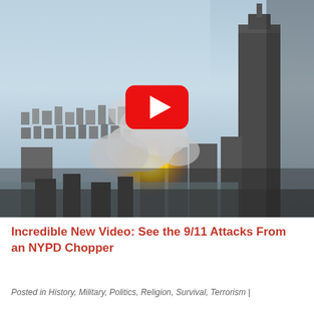[Figure (screenshot): Aerial video thumbnail showing New York City skyline with smoke and destruction from the 9/11 attacks, as seen from an NYPD helicopter. A red YouTube play button overlay is centered on the image.]
Incredible New Video: See the 9/11 Attacks From an NYPD Chopper
Posted in History, Military, Politics, Religion, Survival, Terrorism |